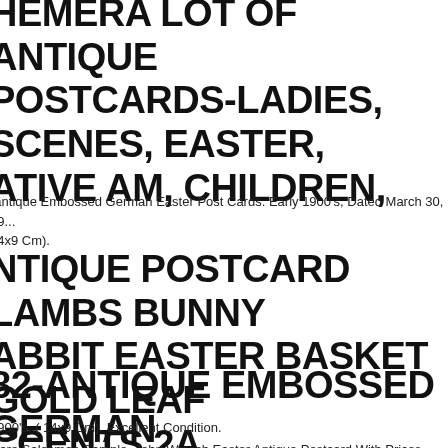EPHEMERA LOT OF ANTIQUE POSTCARDS-LADIES, SCENES, EASTER, NATIVE AM, CHILDREN,
-antique Embossed German Easter Post Cards. Early 1900's, Dated March 30, 19... 14x9 Cm).
ANTIQUE POSTCARD LAMBS BUNNY RABBIT EASTER BASKET GOLD LEAF ACCENTS 2A
82-ANTIQUE EMBOSSED GERMAN EASTER POST CARDS
1900's. ( 14x9 Cm). Excellent Condition.
Rare Salesman Sample, John Winsch Easter Antique Postcard With Prices (wo...